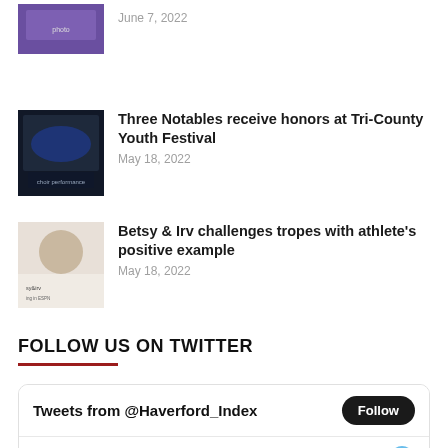[Figure (photo): Partial thumbnail of a performance event, purple-lit stage]
June 7, 2022
[Figure (photo): Thumbnail of a youth choir or group performance on a dark stage]
Three Notables receive honors at Tri-County Youth Festival
May 18, 2022
[Figure (photo): Thumbnail of a person with ESPN Betsy & Irv branding]
Betsy & Irv challenges tropes with athlete's positive example
May 18, 2022
FOLLOW US ON TWITTER
[Figure (screenshot): Twitter widget showing Tweets from @Haverford_Index with Follow button and a tweet from The Index @Haverford_Index Jun 15 saying A group of Sixth Formers worked throughout the]